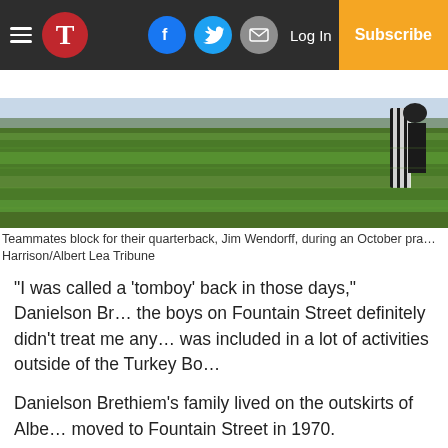≡ T | Facebook | Twitter | Email | Log In | Subscribe
[Figure (photo): Grass field photo showing teammates blocking for quarterback Jim Wendorff during an October practice. A player in black and white uniform visible at right edge.]
Teammates block for their quarterback, Jim Wendorff, during an October pra… Harrison/Albert Lea Tribune
“I was called a ‘tomboy’ back in those days,” Danielson Br… the boys on Fountain Street definitely didn’t treat me any… was included in a lot of activities outside of the Turkey Bo…
Danielson Brethiem’s family lived on the outskirts of Albe… moved to Fountain Street in 1970.